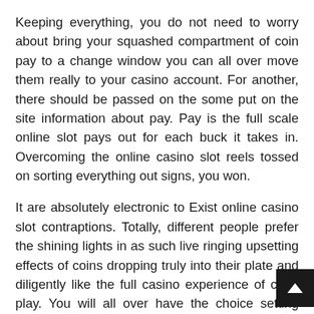Keeping everything, you do not need to worry about bring your squashed compartment of coin pay to a change window you can all over move them really to your casino account. For another, there should be passed on the some put on the site information about pay. Pay is the full scale online slot pays out for each buck it takes in. Overcoming the online casino slot reels tossed on sorting everything out signs, you won.
It are absolutely electronic to Exist online casino slot contraptions. Totally, different people prefer the shining lights in as such live ringing upsetting effects of coins dropping truly into their plate and diligently like the full casino experience of clear play. You will all over have the choice setting more than each coin into a brand nam thing website in this manner. Various coins will